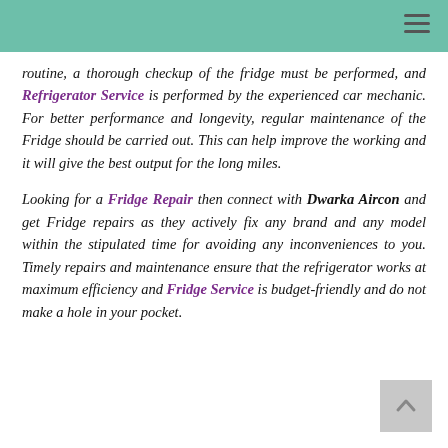routine, a thorough checkup of the fridge must be performed, and Refrigerator Service is performed by the experienced car mechanic. For better performance and longevity, regular maintenance of the Fridge should be carried out. This can help improve the working and it will give the best output for the long miles.
Looking for a Fridge Repair then connect with Dwarka Aircon and get Fridge repairs as they actively fix any brand and any model within the stipulated time for avoiding any inconveniences to you. Timely repairs and maintenance ensure that the refrigerator works at maximum efficiency and Fridge Service is budget-friendly and do not make a hole in your pocket.